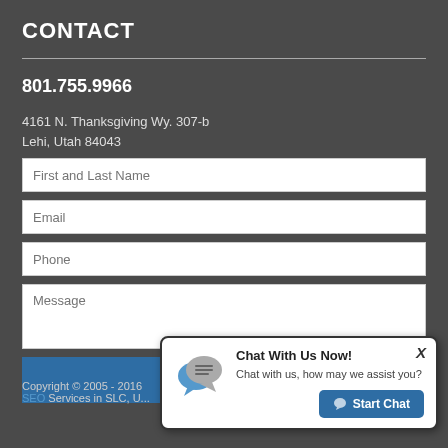CONTACT
801.755.9966
4161 N. Thanksgiving Wy. 307-b
Lehi, Utah 84043
First and Last Name
Email
Phone
Message
SEND
Copyright © 2005 - 2016 SEO Services in SLC, UT
[Figure (screenshot): Chat popup widget with speech bubble icon, title 'Chat With Us Now!', subtitle 'Chat with us, how may we assist you?', a close X button, and a 'Start Chat' blue button]